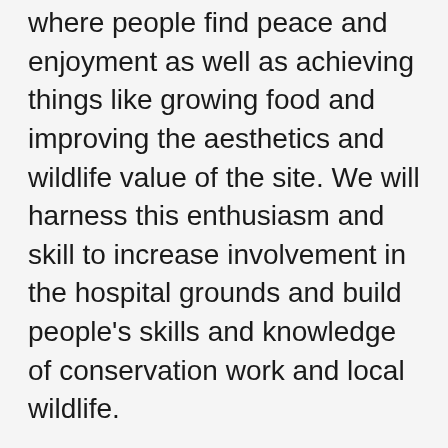where people find peace and enjoyment as well as achieving things like growing food and improving the aesthetics and wildlife value of the site. We will harness this enthusiasm and skill to increase involvement in the hospital grounds and build people's skills and knowledge of conservation work and local wildlife.
In addition, we will aim to encourage people to notice the nature around them and to make increased use of the space for therapeutic purposes, aiming to inspire wonder, peace and relaxation. We will further promote the existing walking routes in the site and encourage mindfulness for staff, visitors and patients.